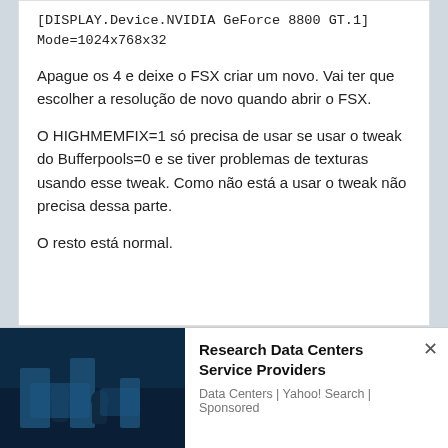[DISPLAY.Device.NVIDIA GeForce 8800 GT.1]
Mode=1024x768x32
Apague os 4 e deixe o FSX criar um novo. Vai ter que escolher a resolução de novo quando abrir o FSX.
O HIGHMEMFIX=1 só precisa de usar se usar o tweak do Bufferpools=0 e se tiver problemas de texturas usando esse tweak. Como não está a usar o tweak não precisa dessa parte.
O resto está normal.
Qui 15 Jul 2010, 08:33
por chadruns
Research Data Centers Service Providers
Data Centers | Yahoo! Search | Sponsored